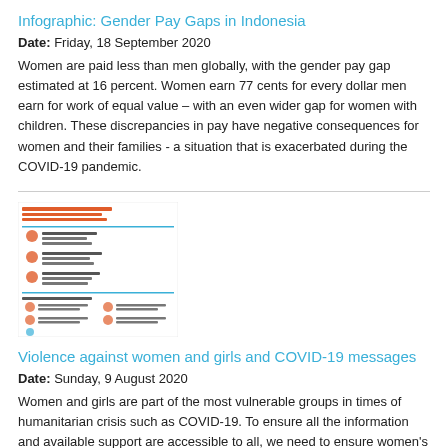Infographic: Gender Pay Gaps in Indonesia
Date: Friday, 18 September 2020
Women are paid less than men globally, with the gender pay gap estimated at 16 percent. Women earn 77 cents for every dollar men earn for work of equal value – with an even wider gap for women with children. These discrepancies in pay have negative consequences for women and their families - a situation that is exacerbated during the COVID-19 pandemic.
[Figure (infographic): Thumbnail of infographic about violence against women and girls and COVID-19 resilience]
Violence against women and girls and COVID-19 messages
Date: Sunday, 9 August 2020
Women and girls are part of the most vulnerable groups in times of humanitarian crisis such as COVID-19. To ensure all the information and available support are accessible to all, we need to ensure women's representation and voices are visible at the